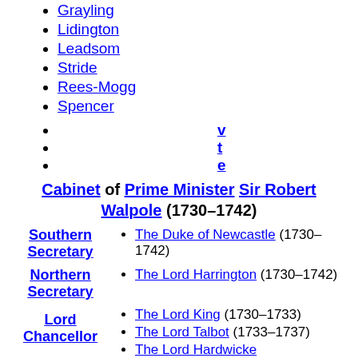Grayling
Lidington
Leadsom
Stride
Rees-Mogg
Spencer
v
t
e
Cabinet of Prime Minister Sir Robert Walpole (1730–1742)
| Role | Holders |
| --- | --- |
| Southern Secretary | The Duke of Newcastle (1730–1742) |
| Northern Secretary | The Lord Harrington (1730–1742) |
| Lord Chancellor | The Lord King (1730–1733)
The Lord Talbot (1733–1737)
The Lord Hardwicke (1737–1742) |